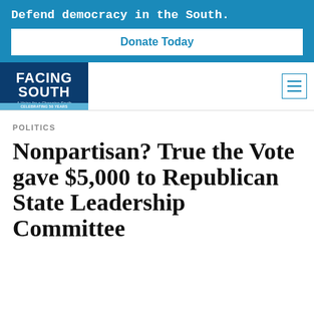Defend democracy in the South.
Donate Today
[Figure (logo): Facing South logo — dark blue box with white text FACING SOUTH, tagline 'A Voice for a Changing South', and light blue banner reading CELEBRATING 50 YEARS]
POLITICS
Nonpartisan? True the Vote gave $5,000 to Republican State Leadership Committee